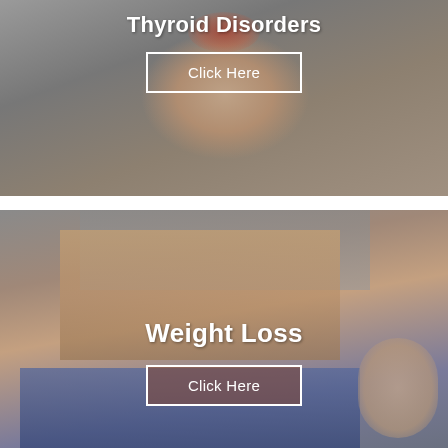[Figure (photo): Woman touching her neck/thyroid area, gray background, semi-transparent medical image style]
Thyroid Disorders
Click Here
[Figure (photo): Woman showing weight loss by pulling out waistband of oversized jeans]
Weight Loss
Click Here